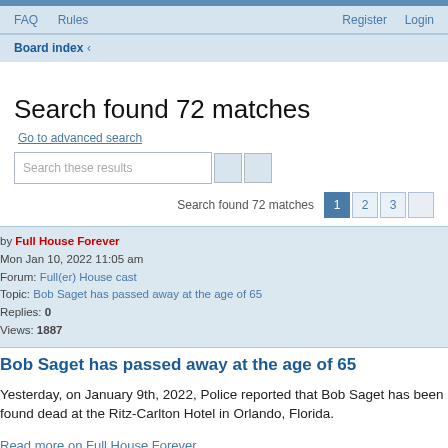FAQ  Rules  Register  Login
Board index ‹
Search found 72 matches
Go to advanced search
Search these results
Search found 72 matches  1  2  3  →
by Full House Forever
Mon Jan 10, 2022 11:05 am
Forum: Full(er) House cast
Topic: Bob Saget has passed away at the age of 65
Replies: 0
Views: 1887
Bob Saget has passed away at the age of 65
Yesterday, on January 9th, 2022, Police reported that Bob Saget has been found dead at the Ritz-Carlton Hotel in Orlando, Florida.
Read more on Full House Forever
Jump to post